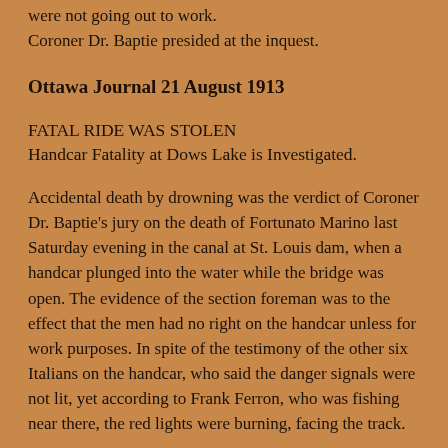were not going out to work.
Coroner Dr. Baptie presided at the inquest.
Ottawa Journal 21 August 1913
FATAL RIDE WAS STOLEN
Handcar Fatality at Dows Lake is Investigated.
Accidental death by drowning was the verdict of Coroner Dr. Baptie's jury on the death of Fortunato Marino last Saturday evening in the canal at St. Louis dam, when a handcar plunged into the water while the bridge was open. The evidence of the section foreman was to the effect that the men had no right on the handcar unless for work purposes. In spite of the testimony of the other six Italians on the handcar, who said the danger signals were not lit, yet according to Frank Ferron, who was fishing near there, the red lights were burning, facing the track.